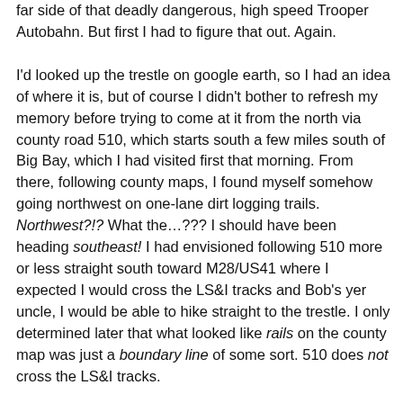far side of that deadly dangerous, high speed Trooper Autobahn. But first I had to figure that out. Again.

I'd looked up the trestle on google earth, so I had an idea of where it is, but of course I didn't bother to refresh my memory before trying to come at it from the north via county road 510, which starts south a few miles south of Big Bay, which I had visited first that morning. From there, following county maps, I found myself somehow going northwest on one-lane dirt logging trails. Northwest?!? What the…??? I should have been heading southeast! I had envisioned following 510 more or less straight south toward M28/US41 where I expected I would cross the LS&I tracks and Bob's yer uncle, I would be able to hike straight to the trestle. I only determined later that what looked like rails on the county map was just a boundary line of some sort. 510 does not cross the LS&I tracks.